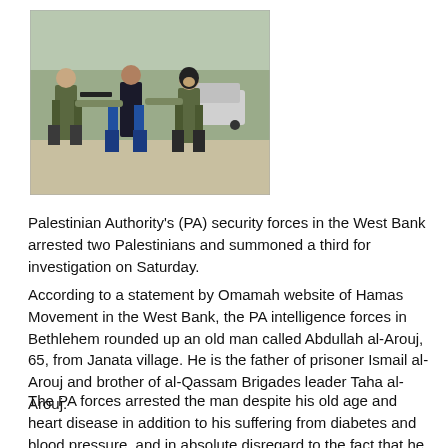[Figure (photo): Photo of Palestinian Authority security forces apprehending individuals on a dirt road, with a vehicle in the background.]
Palestinian Authority's (PA) security forces in the West Bank arrested two Palestinians and summoned a third for investigation on Saturday.
According to a statement by Omamah website of Hamas Movement in the West Bank, the PA intelligence forces in Bethlehem rounded up an old man called Abdullah al-Arouj, 65, from Janata village. He is the father of prisoner Ismail al-Arouj and brother of al-Qassam Brigades leader Taha al-Arouj.
The PA forces arrested the man despite his old age and heart disease in addition to his suffering from diabetes and blood pressure, and in absolute disregard to the fact that he was going to undergo a surgery next week.